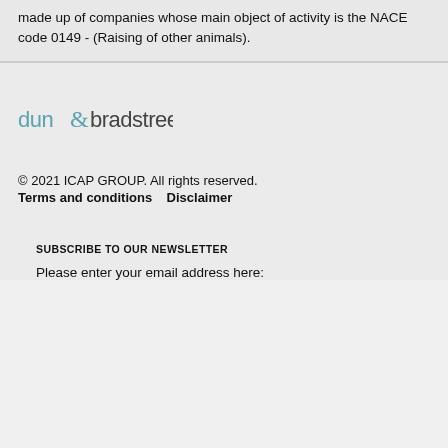made up of companies whose main object of activity is the NACE code 0149 - (Raising of other animals).
[Figure (logo): Dun & Bradstreet logo]
© 2021 ICAP GROUP. All rights reserved.
Terms and conditions     Disclaimer
SUBSCRIBE TO OUR NEWSLETTER
Please enter your email address here: